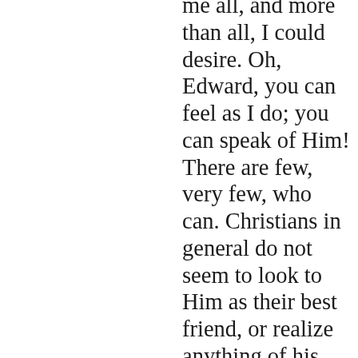me all, and more than all, I could desire. Oh, Edward, you can feel as I do; you can speak of Him! There are few, very few, who can. Christians in general do not seem to look to Him as their best friend, or realize anything of his unutterable love. They speak with a cold, vague, reverential awe, but do not speak as if in the habit of close and near communion; as if they confided to Him every joy and sorrow and